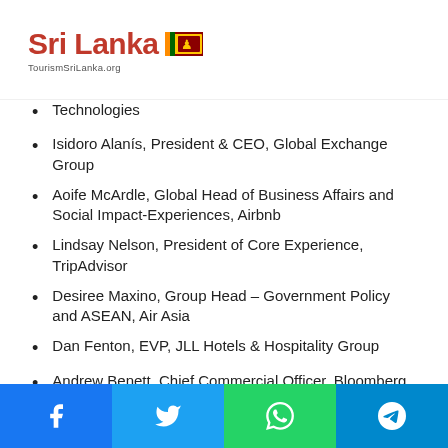Sri Lanka TourismSriLanka.org
Technologies
Isidoro Alanís, President & CEO, Global Exchange Group
Aoife McArdle, Global Head of Business Affairs and Social Impact-Experiences, Airbnb
Lindsay Nelson, President of Core Experience, TripAdvisor
Desiree Maxino, Group Head – Government Policy and ASEAN, Air Asia
Dan Fenton, EVP, JLL Hotels & Hospitality Group
Andrew Benett, Chief Commercial Officer, Bloomberg Media Group, Bloomberg
Social share bar: Facebook, Twitter, WhatsApp, Telegram